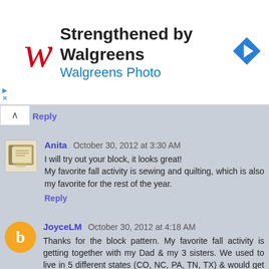[Figure (logo): Walgreens ad banner: red W logo, headline 'Strengthened by Walgreens', subtext 'Walgreens Photo', blue navigation arrow diamond icon]
Reply
Anita  October 30, 2012 at 3:30 AM
I will try out your block, it looks great!
My favorite fall activity is sewing and quilting, which is also my favorite for the rest of the year.
Reply
JoyceLM  October 30, 2012 at 4:18 AM
Thanks for the block pattern. My favorite fall activity is getting together with my Dad & my 3 sisters. We used to live in 5 different states (CO, NC, PA, TN, TX) & would get together at my Dad's house in October. But my Dad moved in with my youngest sister this summer, so we're getting together at her house in TN this weekend. Thanks for the